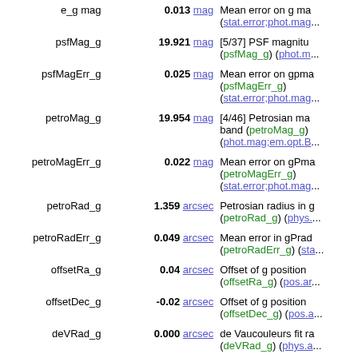| Name | Value | Description |
| --- | --- | --- |
| e_g mag | 0.013 mag | Mean error on g mag; (stat.error;phot.mag... |
| psfMag_g | 19.921 mag | [5/37] PSF magnitude (psfMag_g) (phot.m... |
| psfMagErr_g | 0.025 mag | Mean error on gpma (psfMagErr_g) (stat.error;phot.mag... |
| petroMag_g | 19.954 mag | [4/46] Petrosian magnitude band (petroMag_g) (phot.mag;em.opt.B... |
| petroMagErr_g | 0.022 mag | Mean error on gPma (petroMagErr_g) (stat.error;phot.mag... |
| petroRad_g | 1.359 arcsec | Petrosian radius in g (petroRad_g) (phys.... |
| petroRadErr_g | 0.049 arcsec | Mean error in gPrad (petroRadErr_g) (sta... |
| offsetRa_g | 0.04 arcsec | Offset of g position (offsetRa_g) (pos.ar... |
| offsetDec_g | -0.02 arcsec | Offset of g position (offsetDec_g) (pos.a... |
| deVRad_g | 0.000 arcsec | de Vaucouleurs fit ra (deVRad_g) (phys.a... |